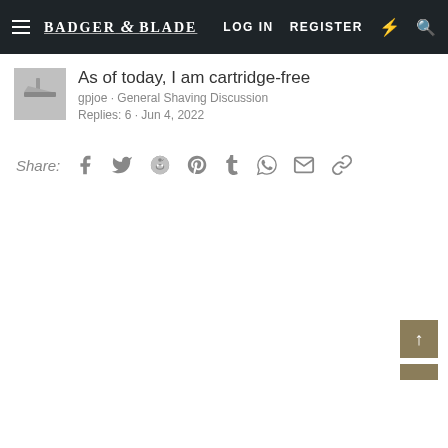Badger & Blade  LOG IN  REGISTER
As of today, I am cartridge-free
gpjoe · General Shaving Discussion
Replies: 6 · Jun 4, 2022
Share:  [Facebook] [Twitter] [Reddit] [Pinterest] [Tumblr] [WhatsApp] [Email] [Link]